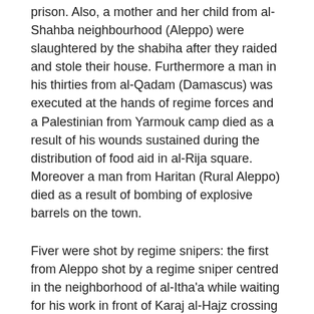prison. Also, a mother and her child from al-Shahba neighbourhood (Aleppo) were slaughtered by the shabiha after they raided and stole their house. Furthermore a man in his thirties from al-Qadam (Damascus) was executed at the hands of regime forces and a Palestinian from Yarmouk camp died as a result of his wounds sustained during the distribution of food aid in al-Rija square. Moreover a man from Haritan (Rural Aleppo) died as a result of bombing of explosive barrels on the town.
Fiver were shot by regime snipers: the first from Aleppo shot by a regime sniper centred in the neighborhood of al-Itha'a while waiting for his work in front of Karaj al-Hajz crossing warehouses, the second a Palestinian from Daraa camp, the third from Arbin (Rural Damascus), the fourth from Douma (Rural Damascus) killed in al-Wifdan camp and the fifth from Harista (Rural Damascus).
Five were killed under torture; two from Adraa (Rural